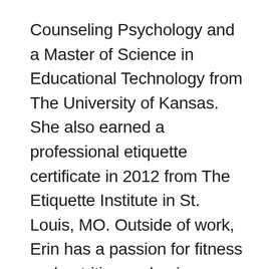Counseling Psychology and a Master of Science in Educational Technology from The University of Kansas. She also earned a professional etiquette certificate in 2012 from The Etiquette Institute in St. Louis, MO. Outside of work, Erin has a passion for fitness and nutrition and enjoys traveling to tropical locations and visiting local wineries.
***I also am an ISSA certified trainer and own and operate The Fit